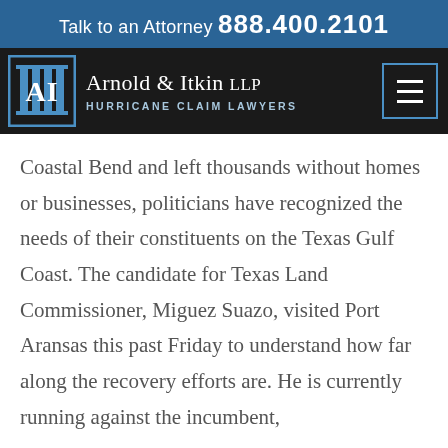Talk to an Attorney 888.400.2101
[Figure (logo): Arnold & Itkin LLP Hurricane Claim Lawyers logo with AI monogram and navigation menu icon on dark background]
Coastal Bend and left thousands without homes or businesses, politicians have recognized the needs of their constituents on the Texas Gulf Coast. The candidate for Texas Land Commissioner, Miguez Suazo, visited Port Aransas this past Friday to understand how far along the recovery efforts are. He is currently running against the incumbent,